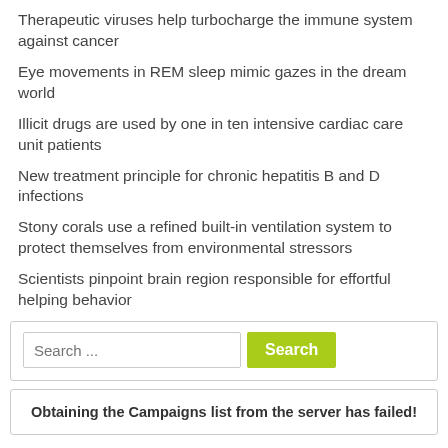Therapeutic viruses help turbocharge the immune system against cancer
Eye movements in REM sleep mimic gazes in the dream world
Illicit drugs are used by one in ten intensive cardiac care unit patients
New treatment principle for chronic hepatitis B and D infections
Stony corals use a refined built-in ventilation system to protect themselves from environmental stressors
Scientists pinpoint brain region responsible for effortful helping behavior
[Figure (screenshot): Search box with text input showing placeholder 'Search ...' and a green 'Search' button]
Obtaining the Campaigns list from the server has failed!